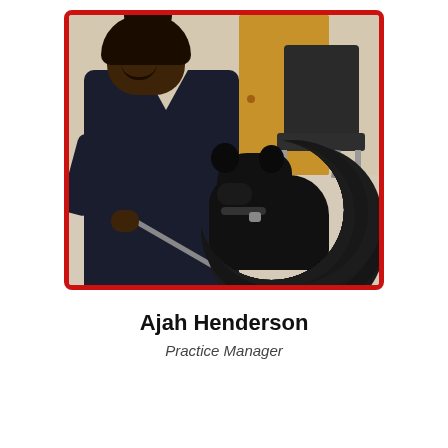[Figure (photo): A smiling woman wearing dark navy scrubs holds the leash of a large black curly-haired dog in what appears to be a veterinary clinic or medical office waiting area. A wooden door and a black metal chair are visible in the background. The photo has a red rounded-rectangle border.]
Ajah Henderson
Practice Manager